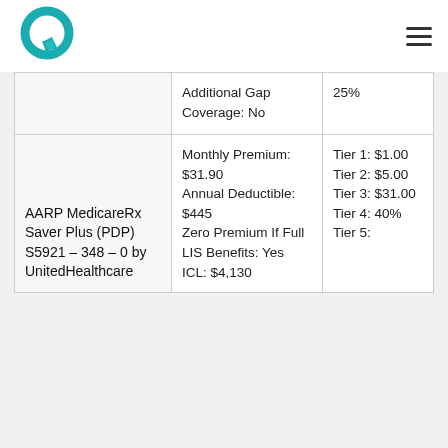Logo and navigation header
| Plan Name | Plan Details | Cost Details |
| --- | --- | --- |
|  | Additional Gap Coverage: No | 25% |
| AARP MedicareRx Saver Plus (PDP) S5921 – 348 – 0 by UnitedHealthcare | Monthly Premium: $31.90
Annual Deductible: $445
Zero Premium If Full LIS Benefits: Yes
ICL: $4,130 | Tier 1: $1.00
Tier 2: $5.00
Tier 3: $31.00
Tier 4: 40%
Tier 5: |